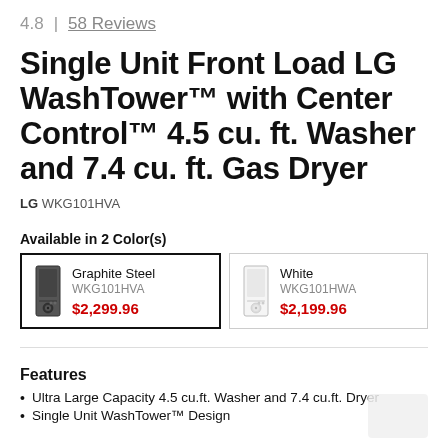4.8  |  58 Reviews
Single Unit Front Load LG WashTower™ with Center Control™ 4.5 cu. ft. Washer and 7.4 cu. ft. Gas Dryer
LG WKG101HVA
Available in 2 Color(s)
| Color | Name | SKU | Price |
| --- | --- | --- | --- |
| Graphite Steel icon | Graphite Steel | WKG101HVA | $2,299.96 |
| White icon | White | WKG101HWA | $2,199.96 |
Features
Ultra Large Capacity 4.5 cu.ft. Washer and 7.4 cu.ft. Dryer
Single Unit WashTower™ Design